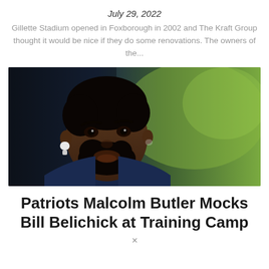July 29, 2022
Gillette Stadium opened in Foxborough in 2002 and The Kraft Group thought it would be nice if they do some renovations. The owners of the...
[Figure (photo): Close-up photo of Malcolm Butler, a Black man with a beard and short hair, wearing a navy blue jacket and white wireless earbuds, with a blurred green background.]
Patriots Malcolm Butler Mocks Bill Belichick at Training Camp